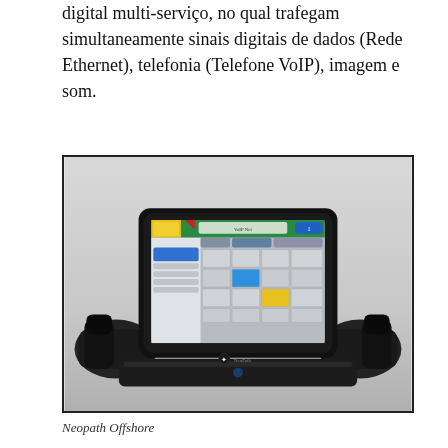digital multi-serviço, no qual trafegam simultaneamente sinais digitais de dados (Rede Ethernet), telefonia (Telefone VoIP), imagem e som.
[Figure (photo): Neopath Offshore device — a tablet-style touchscreen terminal with a scheduling/management software interface displayed on screen, flanked by two black handset cradles on either side, mounted on a dark base unit.]
Neopath Offshore